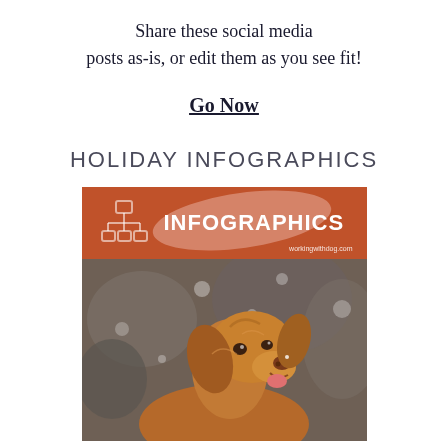Share these social media posts as-is, or edit them as you see fit!
Go Now
HOLIDAY INFOGRAPHICS
[Figure (infographic): Infographics promotional banner with orange header reading 'INFOGRAPHICS' with a network/org chart icon and blob accent, site URL 'workingwithdog.com', below which is a photo of a golden-brown dog (Nova Scotia Duck Tolling Retriever) outdoors with a snowy/blurry background.]